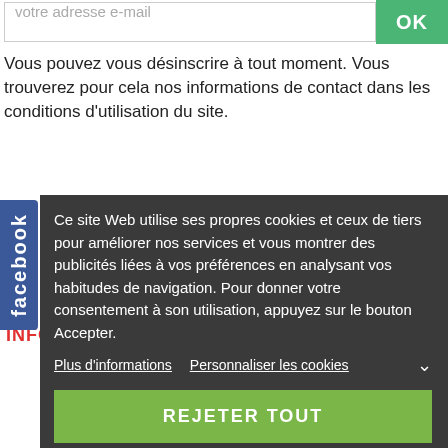[Figure (screenshot): Email input bar with placeholder 'Votre adresse e-mail' and green OK button]
Vous pouvez vous désinscrire à tout moment. Vous trouverez pour cela nos informations de contact dans les conditions d'utilisation du site.
[Figure (screenshot): Facebook social tab on left side]
Ce site Web utilise ses propres cookies et ceux de tiers pour améliorer nos services et vous montrer des publicités liées à vos préférences en analysant vos habitudes de navigation. Pour donner votre consentement à son utilisation, appuyez sur le bouton Accepter.
Plus d'informations   Personnaliser les cookies
REJETER TOUT
J'ACCEPTE
INFORMATIONS PAIEMENT
[Figure (logo): Payment logos: CE card, Mastercard, VISA, E-transactions, Crédit Agricole partial logo]